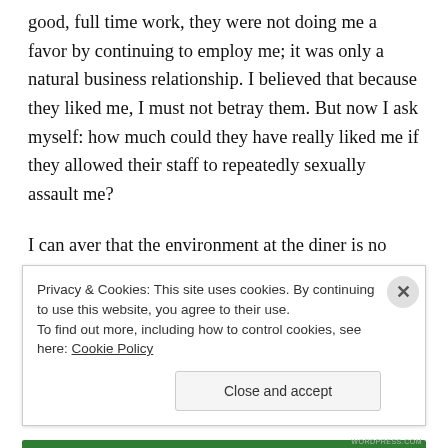good, full time work, they were not doing me a favor by continuing to employ me; it was only a natural business relationship. I believed that because they liked me, I must not betray them. But now I ask myself: how much could they have really liked me if they allowed their staff to repeatedly sexually assault me?
I can aver that the environment at the diner is no different today than it was when I left. My silence will achieve nothing except to protect and perpetuate the
Privacy & Cookies: This site uses cookies. By continuing to use this website, you agree to their use.
To find out more, including how to control cookies, see here: Cookie Policy
Close and accept